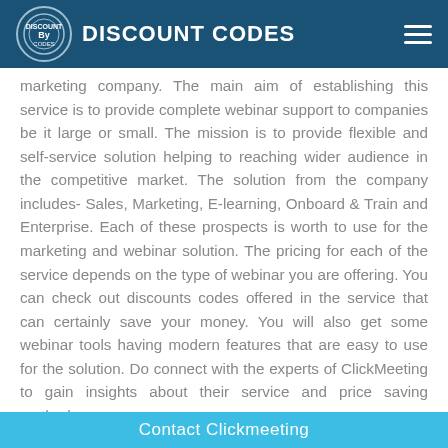DISCOUNT CODES
marketing company. The main aim of establishing this service is to provide complete webinar support to companies be it large or small. The mission is to provide flexible and self-service solution helping to reaching wider audience in the competitive market. The solution from the company includes- Sales, Marketing, E-learning, Onboard & Train and Enterprise. Each of these prospects is worth to use for the marketing and webinar solution. The pricing for each of the service depends on the type of webinar you are offering. You can check out discounts codes offered in the service that can certainly save your money. You will also get some webinar tools having modern features that are easy to use for the solution. Do connect with the experts of ClickMeeting to gain insights about their service and price saving methods.
Contact Clickmeeting